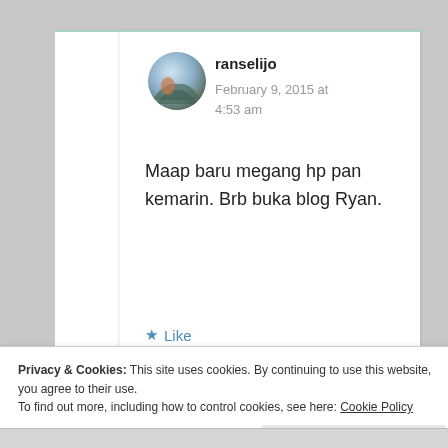ranselijo
February 9, 2015 at 4:53 am
Maap baru megang hp pan kemarin. Brb buka blog Ryan.
Privacy & Cookies: This site uses cookies. By continuing to use this website, you agree to their use.
To find out more, including how to control cookies, see here: Cookie Policy
Close and accept